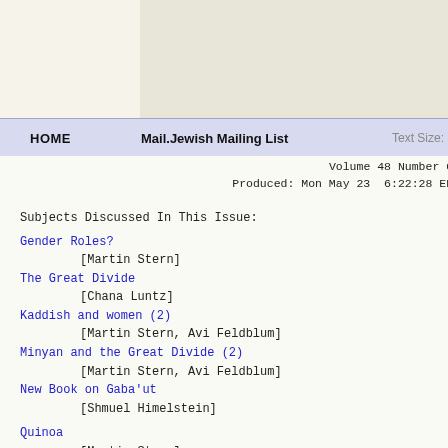HOME   Mail.Jewish Mailing List   Text Size:
Volume 48 Number 02
Produced: Mon May 23  6:22:28 EDT
Subjects Discussed In This Issue:
Gender Roles?
            [Martin Stern]
The Great Divide
            [Chana Luntz]
Kaddish and women (2)
            [Martin Stern, Avi Feldblum]
Minyan and the Great Divide (2)
            [Martin Stern, Avi Feldblum]
New Book on Gaba'ut
            [Shmuel Himelstein]
Quinoa
            [Martin Stern]